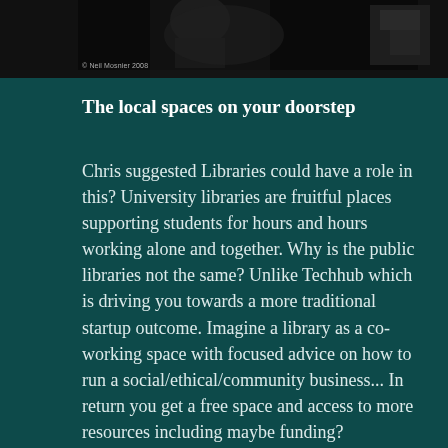[Figure (photo): Dark monochrome photograph strip showing people, appears to be a banner image at the top of the page]
© Neil Mosnier 2008
The local spaces on your doorstep
Chris suggested Libraries could have a role in this? University libraries are fruitful places supporting students for hours and hours working alone and together. Why is the public libraries not the same? Unlike Techhub which is driving you towards a more traditional startup outcome. Imagine a library as a co-working space with focused advice on how to run a social/ethical/community business... In return you get a free space and access to more resources including maybe funding?